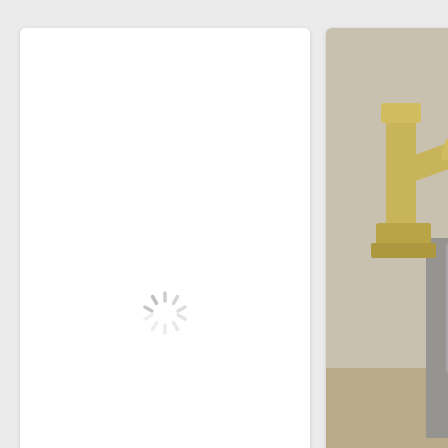[Figure (screenshot): Left card with loading spinner (white card, loading spinner in center, white image area)]
SPECTRUM ANALYZER WITH STEAMPUNK NIXIE LOOK
[Figure (photo): Right card showing a yellow Arduino robotic arm on a desk with a laptop in the background, partially cropped]
Arduino Robotic A... Controlled by Tou...
by Maurizio Miscio
[Figure (screenshot): Bottom partial white card, mostly off-screen]